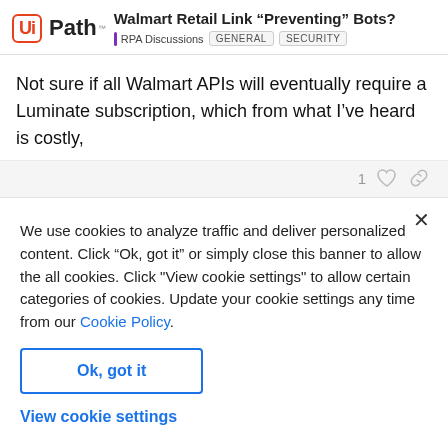Walmart Retail Link “Preventing” Bots? | RPA Discussions | GENERAL | SECURITY
Not sure if all Walmart APIs will eventually require a Luminate subscription, which from what I’ve heard is costly,
We use cookies to analyze traffic and deliver personalized content. Click “Ok, got it” or simply close this banner to allow the all cookies. Click "View cookie settings" to allow certain categories of cookies. Update your cookie settings any time from our Cookie Policy.
Ok, got it
View cookie settings